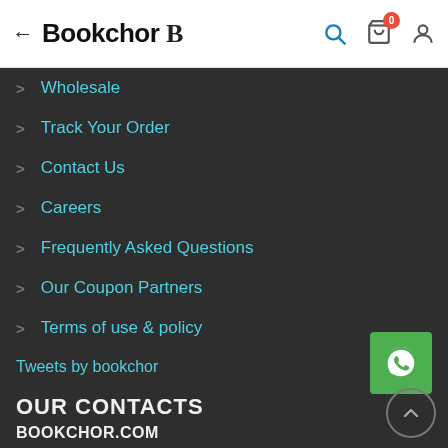← Bookchor B
> Wholesale
> Track Your Order
> Contact Us
> Careers
> Frequently Asked Questions
> Our Coupon Partners
> Terms of use & policy
Tweets by bookchor
OUR CONTACTS
BOOKCHOR.COM
#1218,
Sector-15, Sonepat,
Haryana -131001
P:+91-9050111218
Email: cs@bookchor.com
[Figure (logo): WhatsApp icon green button]
[Figure (other): Scroll to top circular button with upward chevron]